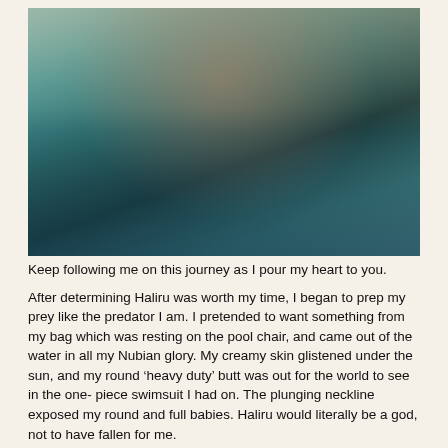[Figure (photo): A woman wearing a teal/blue patterned two-piece outfit sitting by a pool area with lounge chairs and a tropical setting in the background.]
Keep following me on this journey as I pour my heart to you.
After determining Haliru was worth my time, I began to prep my prey like the predator I am. I pretended to want something from my bag which was resting on the pool chair, and came out of the water in all my Nubian glory. My creamy skin glistened under the sun, and my round ‘heavy duty’ butt was out for the world to see in the one- piece swimsuit I had on. The plunging neckline exposed my round and full babies. Haliru would literally be a god, not to have fallen for me.